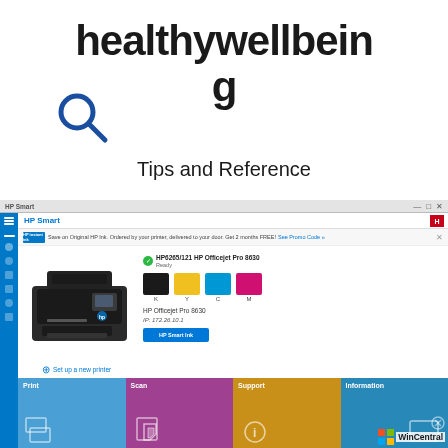healthywellbeing
Tips and Reference
[Figure (screenshot): HP Smart application screenshot showing a printer management interface with a connected HP Officejet Pro 8630 printer, ink level swatches (K, Y, C, M), printer IP address 172.26.10.1, and four bottom tiles: Print, Scan, Support, Information. Also shows Instant Ink banner at top and blue sidebar navigation.]